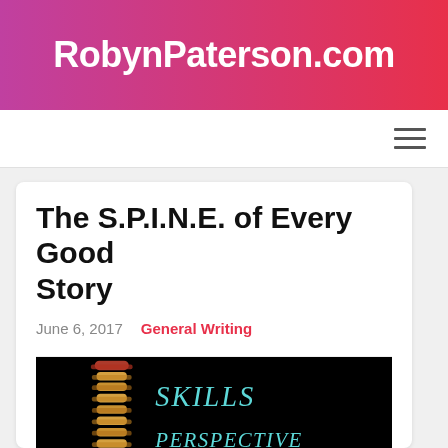RobynPaterson.com
The S.P.I.N.E. of Every Good Story
June 6, 2017   General Writing
[Figure (illustration): Dark background image of a human spine on the left side, next to text reading 'SKILLS', 'PERSPECTIVE', 'INFORMATION' in teal/cyan italic letters on a black background]